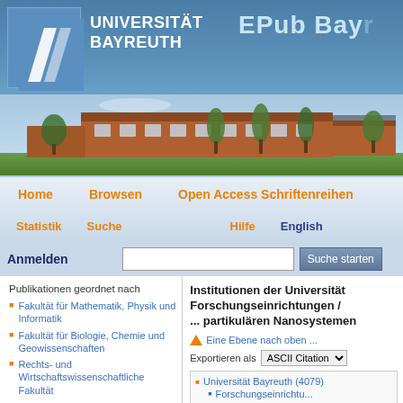[Figure (screenshot): Universität Bayreuth EPub Bayreuth website header with logo, campus photo, navigation bars, and search bar]
Publikationen geordnet nach
Fakultät für Mathematik, Physik und Informatik
Fakultät für Biologie, Chemie und Geowissenschaften
Rechts- und Wirtschaftswissenschaftliche Fakultät
Sprach- und Literaturwissenschaftliche Fakultät
Institutionen der Universität / Forschungseinrichtungen / ... partikulären Nanosystemen
Eine Ebene nach oben ...
Exportieren als ASCII Citation
Universität Bayreuth (4079)
Forschungseinrichtu...
Sonderforsc...